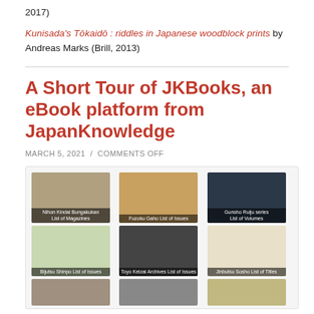2017)
Kunisada's Tōkaidō : riddles in Japanese woodblock prints by Andreas Marks (Brill, 2013)
A Short Tour of JKBooks, an eBook platform from JapanKnowledge
MARCH 5, 2021 / COMMENTS OFF
[Figure (screenshot): Screenshot of JKBooks eBook platform showing a grid of book/magazine cover thumbnails including: Nihon Kindai Bungakukan List of Magazines, Fuzoku Gaho List of Issues, Gunsho Ruiju series List of Volumes, Bijutsu Shinpo List of Issues, Toyo Keizai Archives List of Issues, Jinbutsu Sosho List of Titles, and partially visible bottom row.]